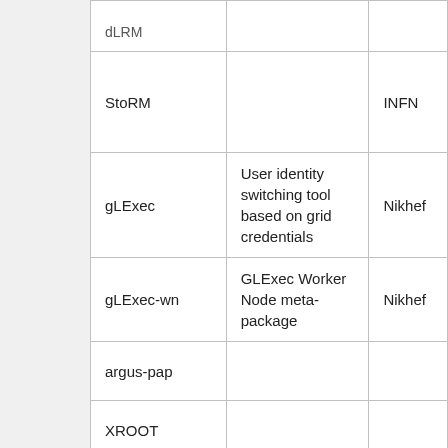|  |  |  |
| --- | --- | --- |
| dLRM |  |  |
| StoRM |  | INFN |
| gLExec | User identity switching tool based on grid credentials | Nikhef |
| gLExec-wn | GLExec Worker Node meta-package | Nikhef |
| argus-pap |  |  |
| XROOT |  |  |
| QCG Computing |  |  |
| QCG Notification |  |  |
| Globus |  |  |